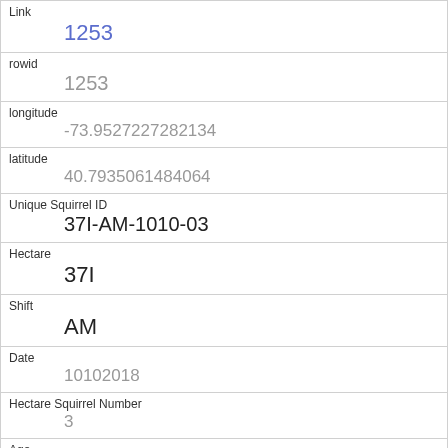| Link | 1253 |
| rowid | 1253 |
| longitude | -73.9527227282134 |
| latitude | 40.7935061484064 |
| Unique Squirrel ID | 37I-AM-1010-03 |
| Hectare | 37I |
| Shift | AM |
| Date | 10102018 |
| Hectare Squirrel Number | 3 |
| Age | Adult |